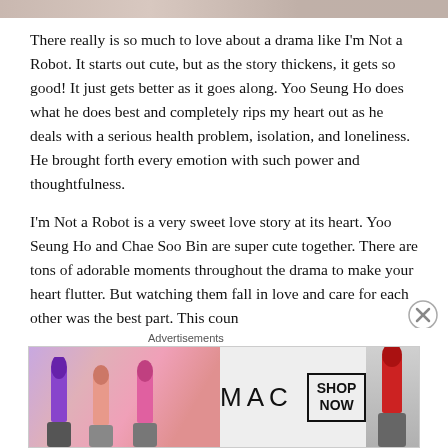[Figure (photo): Cropped top image strip, appears to be a promotional photo from a Korean drama]
There really is so much to love about a drama like I'm Not a Robot. It starts out cute, but as the story thickens, it gets so good! It just gets better as it goes along. Yoo Seung Ho does what he does best and completely rips my heart out as he deals with a serious health problem, isolation, and loneliness. He brought forth every emotion with such power and thoughtfulness.
I'm Not a Robot is a very sweet love story at its heart. Yoo Seung Ho and Chae Soo Bin are super cute together. There are tons of adorable moments throughout the drama to make your heart flutter. But watching them fall in love and care for each other was the best part. This coun
Advertisements
[Figure (photo): MAC Cosmetics advertisement showing lipsticks with SHOP NOW call to action]